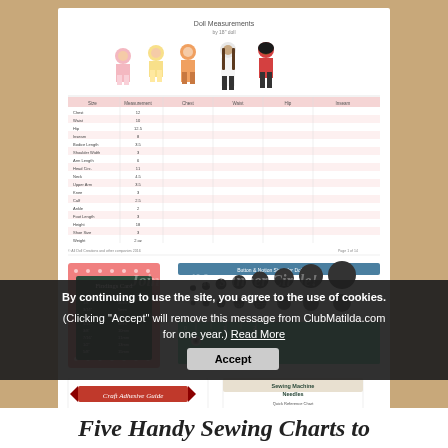[Figure (photo): A photo of printed sewing reference charts laid on a wooden surface. The top chart shows doll measurements with illustrated dolls of various sizes and a data table below them. Below that is a Findings Card with a dark chalkboard-style card, and next to it a ruler/button size guide. At the bottom are a 'Craft Adhesive Guide' with a red banner and a 'Sewing Machine Needles' reference card.]
By continuing to use the site, you agree to the use of cookies.

(Clicking "Accept" will remove this message from ClubMatilda.com for one year.) Read More
Accept
Join Matilda's Inner Circle!
Join our Inner Circle mailing list & receive our most popular patterns FREE. You'll be the first to know about new...
Five Handy Sewing Charts to